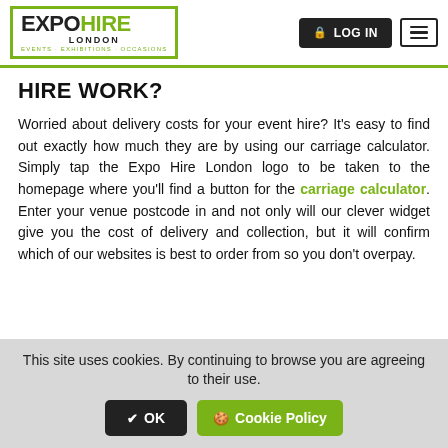[Figure (logo): Expo Hire London logo with green bracket border, tagline: EVENTS · EXHIBITIONS · OCCASIONS]
HIRE WORK?
Worried about delivery costs for your event hire? It's easy to find out exactly how much they are by using our carriage calculator. Simply tap the Expo Hire London logo to be taken to the homepage where you'll find a button for the carriage calculator. Enter your venue postcode in and not only will our clever widget give you the cost of delivery and collection, but it will confirm which of our websites is best to order from so you don't overpay.
This site uses cookies. By continuing to browse you are agreeing to their use.